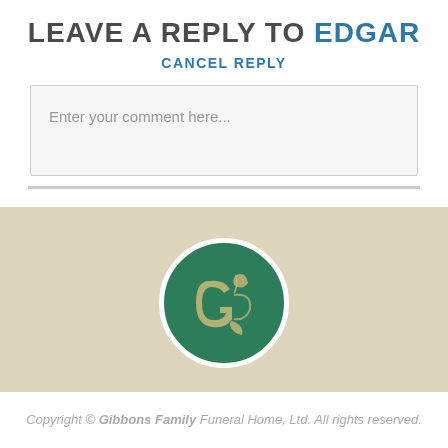LEAVE A REPLY TO EDGAR
CANCEL REPLY
Enter your comment here...
[Figure (logo): Circular green logo with decorative monogram letters and leaf motifs for Gibbons Family Funeral Home]
Copyright © Gibbons Family Funeral Home, Ltd. All rights reserved.